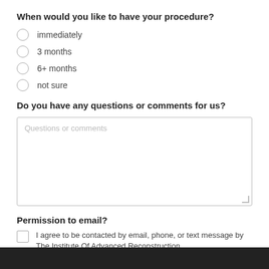When would you like to have your procedure?
immediately
3 months
6+ months
not sure
Do you have any questions or comments for us?
Questions or comments
Permission to email?
I agree to be contacted by email, phone, or text message by The Institute Of Advanced Reconstruction